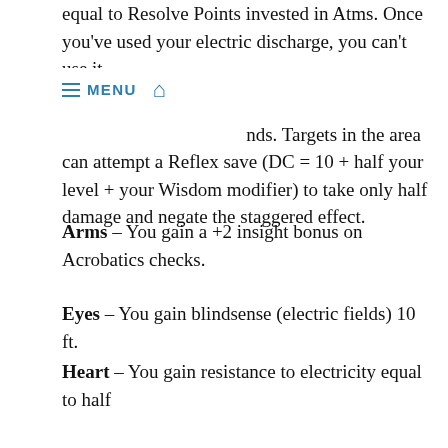equal to Resolve Points invested in Atms. Once you've used your electric discharge, you can't use it a [MENU] [HOME] nds. Targets in the area can attempt a Reflex save (DC = 10 + half your level + your Wisdom modifier) to take only half damage and negate the staggered effect.
Arms – You gain a +2 insight bonus on Acrobatics checks.
Eyes – You gain blindsense (electric fields) 10 ft.
Heart – You gain resistance to electricity equal to half your mystic level.
Kyokor
A massive colossi from the ruined planet of Daimalko, the Kyokor is synonymous with implacable strength.